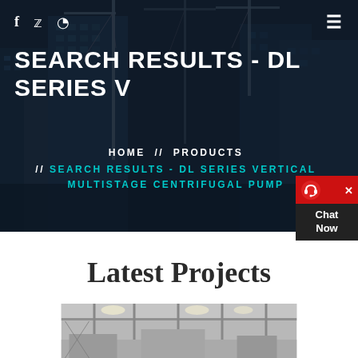[Figure (photo): Hero background image: cityscape with construction cranes and tall buildings under dark blue overlay]
f  ♥  ⊕
SEARCH RESULTS - DL SERIES V
HOME // PRODUCTS // SEARCH RESULTS - DL SERIES VERTICAL MULTISTAGE CENTRIFUGAL PUMP
[Figure (infographic): Chat Now widget with red header, X close button, headset icon, and Chat Now text on dark background]
Latest Projects
[Figure (photo): Construction site interior showing scaffolding, structural beams and equipment]